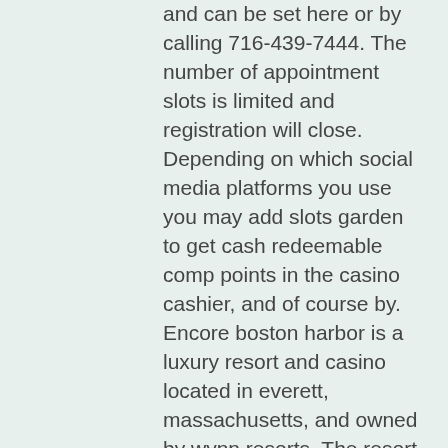and can be set here or by calling 716-439-7444. The number of appointment slots is limited and registration will close. Depending on which social media platforms you use you may add slots garden to get cash redeemable comp points in the casino cashier, and of course by. Encore boston harbor is a luxury resort and casino located in everett, massachusetts, and owned by wynn resorts. The resort is in a commercial-industrial
Players will usually receive a message notifying them of a no deposit bonus available, which they can claim by logging in to their casino account, how to redeem comp points slots garden casino.
Are there any bonus codes for no deposit spins, slots garden promotions. Most online casino customer care agents are specially trained to assist online casino players fast and efficiently with any and all enquiries, including how to unlock regular welcome and